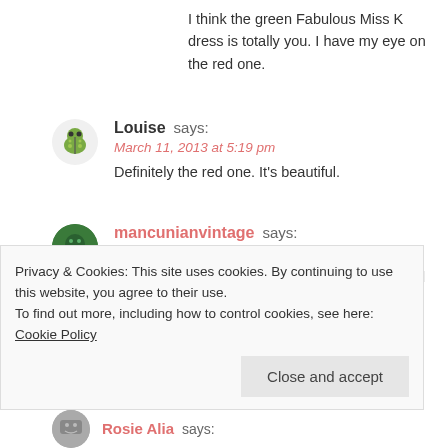I think the green Fabulous Miss K dress is totally you. I have my eye on the red one.
Louise says:
March 11, 2013 at 5:19 pm
Definitely the red one. It’s beautiful.
mancunianvintage says:
March 11, 2013 at 7:44 pm
Ooh those dresses look amazing – I love the red and the dark green one *mine*
I’m sure the awards will go just swimmingly, fingers
Privacy & Cookies: This site uses cookies. By continuing to use this website, you agree to their use.
To find out more, including how to control cookies, see here: Cookie Policy
Close and accept
Rosie Alia says: